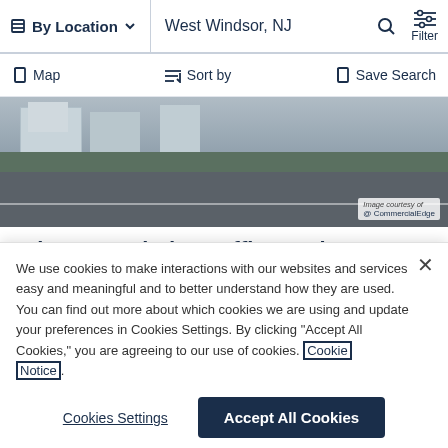By Location   West Windsor, NJ   Filter
Map   Sort by   Save Search
[Figure (photo): Street-level photo of Princeton Windsor Office Park parking lot and road, with commercial buildings in background. Image courtesy of CommercialEdge watermark visible.]
Princeton Windsor Office Park
379 Princeton Hightstown Road, West Windsor, East
We use cookies to make interactions with our websites and services easy and meaningful and to better understand how they are used. You can find out more about which cookies we are using and update your preferences in Cookies Settings. By clicking “Accept All Cookies,” you are agreeing to our use of cookies. Cookie Notice.
Cookies Settings
Accept All Cookies